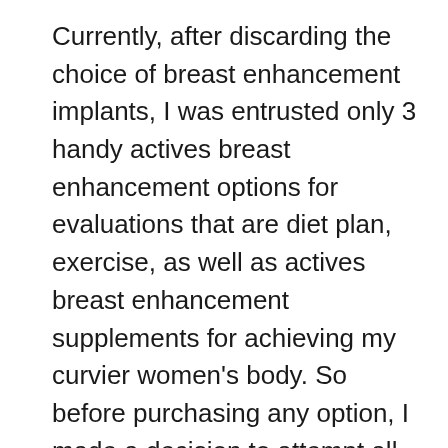Currently, after discarding the choice of breast enhancement implants, I was entrusted only 3 handy actives breast enhancement options for evaluations that are diet plan, exercise, as well as actives breast enhancement supplements for achieving my curvier women's body. So before purchasing any option, I made a decision to attempt all-natural tips to make breasts large such as diet plan and also exercise, however regrettably, I failed because I could not invest and also muster that much of dedication, time, and sustained initiative. I needed a little nudge and aid from some wonderful foods as well as herbs.
Therefore I took place to attempt my last